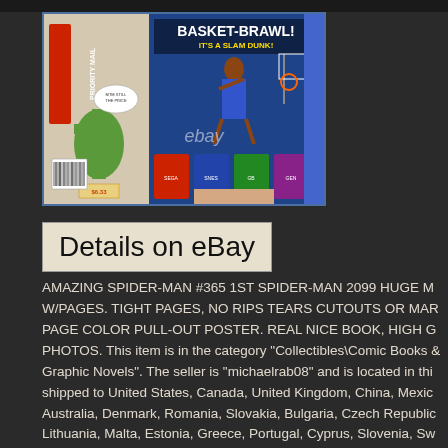[Figure (photo): Photo of a comic book showing 'Basket-Brawl! It's a Slam Dunk!' advertisement page alongside a Priority Mail label, displayed on an eBay listing with ebay watermark visible]
Details on eBay
AMAZING SPIDER-MAN #365 1ST SPIDER-MAN 2099 HUGE M W/PAGES. TIGHT PAGES, NO RIPS TEARS CUTOUTS OR MAR PAGE COLOR PULL-OUT POSTER. REAL NICE BOOK, HIGH G PHOTOS. This item is in the category "Collectibles\Comic Books & Graphic Novels". The seller is "michaelrab08" and is located in thi shipped to United States, Canada, United Kingdom, China, Mexic Australia, Denmark, Romania, Slovakia, Bulgaria, Czech Republic Lithuania, Malta, Estonia, Greece, Portugal, Cyprus, Slovenia, Sw Taiwan, South Africa, Thailand, Belgium, Hong Kong, Ireland,